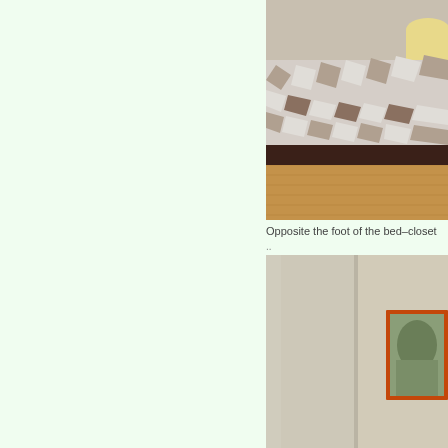[Figure (photo): Bedroom photo showing foot of bed with patterned bedspread (brown/white/grey geometric pattern) and dark bed skirt, hardwood floor, lamp on nightstand visible in upper right corner, beige walls]
Opposite the foot of the bed–closet
[Figure (photo): Room photo showing closet area with cream/beige walls, a framed picture with orange/red frame on the right wall, minimal furnishings visible]